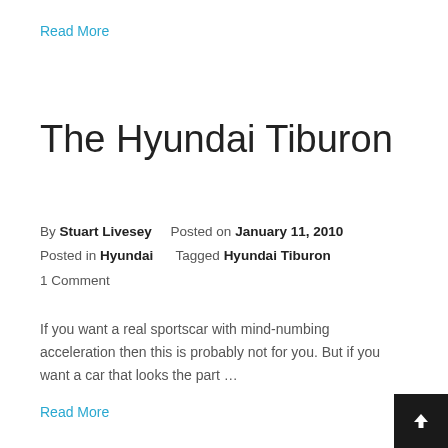Read More
The Hyundai Tiburon
By Stuart Livesey   Posted on January 11, 2010
Posted in Hyundai     Tagged Hyundai Tiburon
1 Comment
If you want a real sportscar with mind-numbing acceleration then this is probably not for you. But if you want a car that looks the part …
Read More